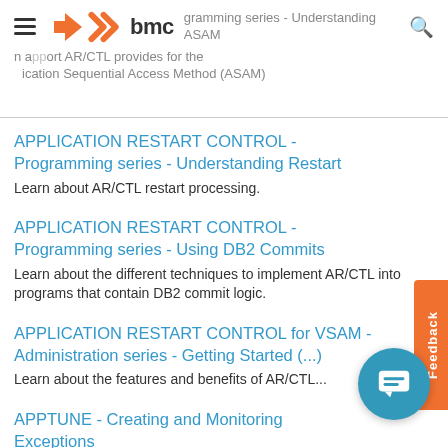Programming series - Understanding ASAM | Application Sequential Access Method (ASAM)
APPLICATION RESTART CONTROL - Programming series - Understanding Restart
Learn about AR/CTL restart processing.
APPLICATION RESTART CONTROL - Programming series - Using DB2 Commits
Learn about the different techniques to implement AR/CTL into programs that contain DB2 commit logic.
APPLICATION RESTART CONTROL for VSAM - Administration series - Getting Started (...)
Learn about the features and benefits of AR/CTL...
APPTUNE - Creating and Monitoring Exceptions (4:31)